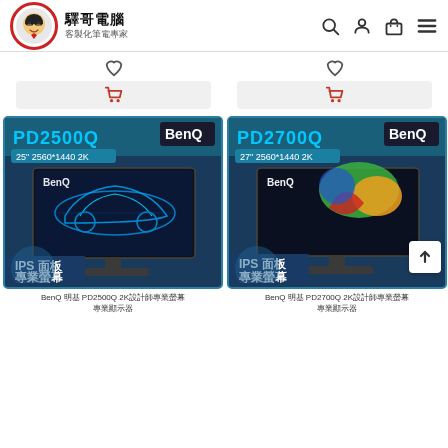驛哥電腦 客製化筆電專家
[Figure (screenshot): Two BenQ monitor product cards side by side. Left: BenQ PD2500Q, 25" 2560*1440 2K, IPS面板 專業螢幕. Right: BenQ PD2700Q, 27" 2560*1440 2K, IPS面板 專業螢幕.]
BenQ 明基 PD2500Q 2K設計師專業螢幕 專業顯示器
BenQ 明基 PD2700Q 2K設計師專業螢幕 專業顯示器